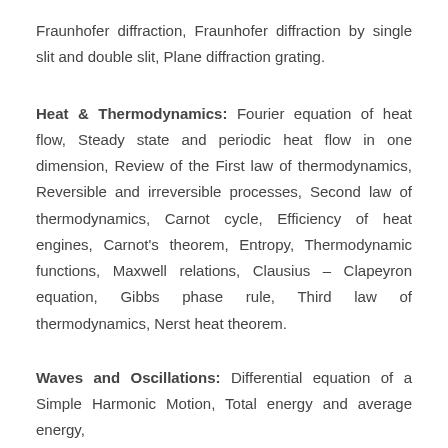Fraunhofer diffraction, Fraunhofer diffraction by single slit and double slit, Plane diffraction grating.
Heat & Thermodynamics: Fourier equation of heat flow, Steady state and periodic heat flow in one dimension, Review of the First law of thermodynamics, Reversible and irreversible processes, Second law of thermodynamics, Carnot cycle, Efficiency of heat engines, Carnot's theorem, Entropy, Thermodynamic functions, Maxwell relations, Clausius – Clapeyron equation, Gibbs phase rule, Third law of thermodynamics, Nerst heat theorem.
Waves and Oscillations: Differential equation of a Simple Harmonic Motion, Total energy and average energy,